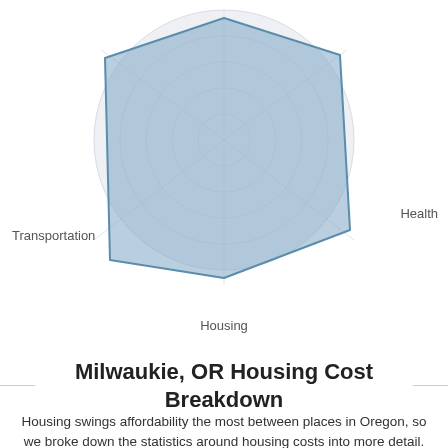[Figure (radar-chart): Radar chart showing cost of living categories including Transportation, Health, and Housing. The shaded area (blue-gray) extends broadly across most axes, indicating high values in most categories except Transportation which dips inward.]
Transportation
Health
Housing
Milwaukie, OR Housing Cost Breakdown
Housing swings affordability the most between places in Oregon, so we broke down the statistics around housing costs into more detail. It's also important to consider median